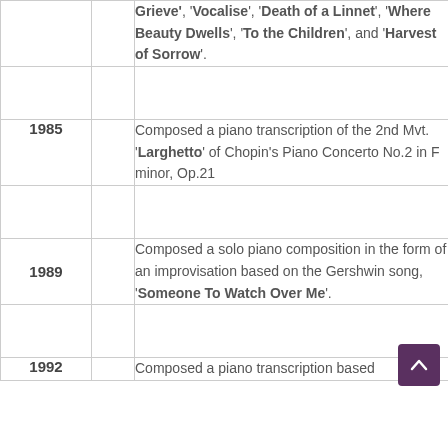| Year |  | Description |
| --- | --- | --- |
|  |  | Grieve', 'Vocalise', 'Death of a Linnet', 'Where Beauty Dwells', 'To the Children', and 'Harvest of Sorrow'. |
|  |  |  |
| 1985 |  | Composed a piano transcription of the 2nd Mvt. 'Larghetto' of Chopin's Piano Concerto No.2 in F minor, Op.21 |
|  |  |  |
| 1989 |  | Composed a solo piano composition in the form of an improvisation based on the Gershwin song, 'Someone To Watch Over Me'. |
|  |  |  |
| 1992 |  | Composed a piano transcription based |